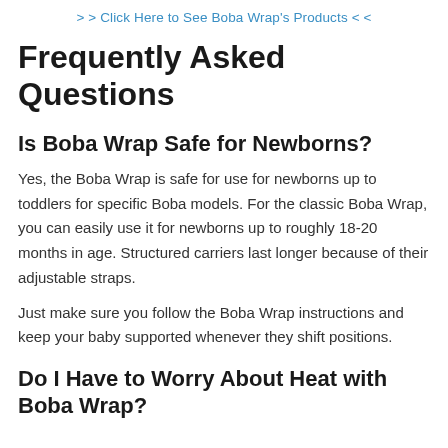> > Click Here to See Boba Wrap's Products < <
Frequently Asked Questions
Is Boba Wrap Safe for Newborns?
Yes, the Boba Wrap is safe for use for newborns up to toddlers for specific Boba models. For the classic Boba Wrap, you can easily use it for newborns up to roughly 18-20 months in age. Structured carriers last longer because of their adjustable straps.
Just make sure you follow the Boba Wrap instructions and keep your baby supported whenever they shift positions.
Do I Have to Worry About Heat with Boba Wrap?